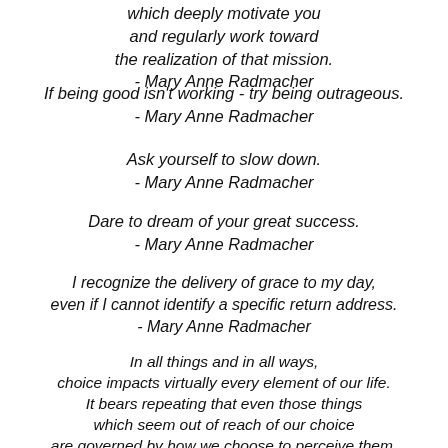which deeply motivate you and regularly work toward the realization of that mission. - Mary Anne Radmacher
If being good isn't working - try being outrageous. - Mary Anne Radmacher
Ask yourself to slow down. - Mary Anne Radmacher
Dare to dream of your great success. - Mary Anne Radmacher
I recognize the delivery of grace to my day, even if I cannot identify a specific return address. - Mary Anne Radmacher
In all things and in all ways, choice impacts virtually every element of our life. It bears repeating that even those things which seem out of reach of our choice are governed by how we choose to perceive them. - Mary Anne Radmacher
Life is defined more by its risks than by its samenesses. - Mary Anne Radmacher